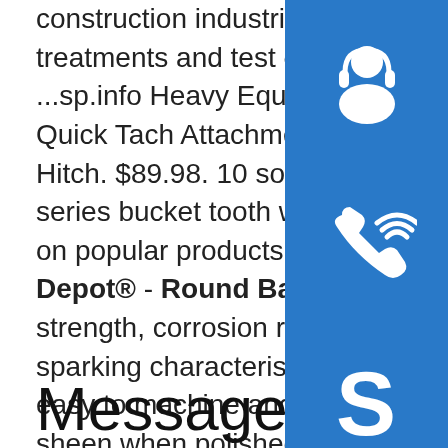construction industries, can be supplied with a variety of treatments and test options to ensure that it is a highly usable ...sp.info Heavy Equipment Bucket Attachments for sale, eBay1/4" Quick Tach Attachment Mount Plate Steer Structural Steel Trailer Hitch. $89.98. 10 sold. V23 Super V Adapter Esco Style for a 23 series bucket tooth w a V23PN Pin . $60.66. 10 sold. Great price on popular products. Compare at price is the price …s Metals Depot® - Round Bar360 Brass Round Bar material to use when strength, corrosion resistance, electrical conductivity, and non-sparking characteristics are important. 360 Brass Round Bar is easy to machine and is often used decoratively because of its high sheen when polished. It is also used in fittings, marine hardware, fasteners, instruments and more.Some results are removed in response to a notice of local law requirement. For more information, please see here.
[Figure (illustration): Three blue square icons stacked vertically on the right side: headset/customer support icon, phone/call icon, Skype icon]
Message